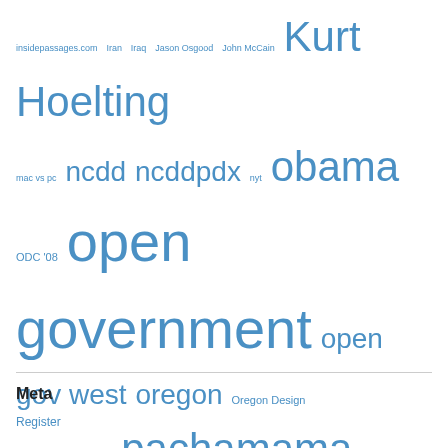[Figure (other): Tag cloud with various terms in different sizes, all in blue, including: insidepassages.com, Iran, Iraq, Jason Osgood, John McCain, Kurt Hoelting, mac vs pc, ncdd, ncddpdx, nyt, obama, ODC '08, open government, open gov west, oregon, Oregon Design Conference, p2008, pachamama, portland, powervote, sarah, rich, social entrepreneurship, social media, sustainability, tactics of hope, Tallberg, theuptake, transparency, Vicki Robin, video, visionaries, war, WA secretary of state, wilford welch, will.i.am, winslow cohousing gingerbread house bainbridge island, wiser earth, world cafe, World Car-Free Day, worldchanging, yasuni, yes we can, zanby]
Meta
Register